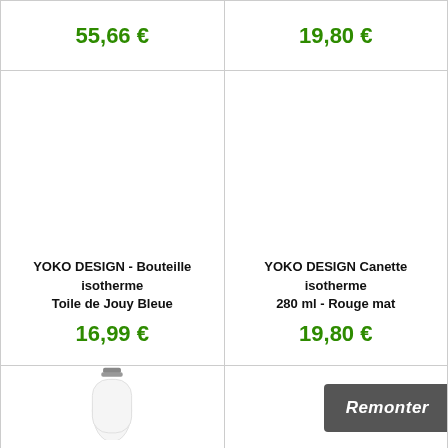55,66 €
19,80 €
YOKO DESIGN - Bouteille isotherme Toile de Jouy Bleue
16,99 €
YOKO DESIGN Canette isotherme 280 ml - Rouge mat
19,80 €
[Figure (photo): White insulated bottle with gray cap]
Remonter